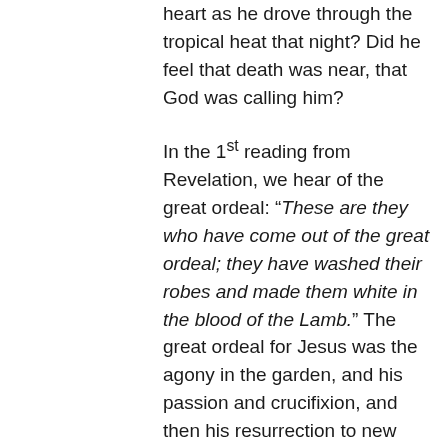heart as he drove through the tropical heat that night? Did he feel that death was near, that God was calling him?
In the 1st reading from Revelation, we hear of the great ordeal: “These are they who have come out of the great ordeal; they have washed their robes and made them white in the blood of the Lamb.” The great ordeal for Jesus was the agony in the garden, and his passion and crucifixion, and then his resurrection to new life. The great ordeal for early Christians was facing death by the Roman Empire for following Jesus. The great ordeal for Fr. Art was to stand with the people of the Dominican Republic in their situation of military oppression. He gave his life because he loved the people, because he loved God, because God is love. “Blessed are you when people revile you and persecute you… on my